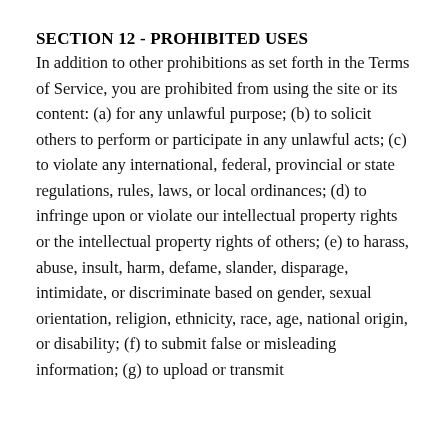SECTION 12 - PROHIBITED USES
In addition to other prohibitions as set forth in the Terms of Service, you are prohibited from using the site or its content: (a) for any unlawful purpose; (b) to solicit others to perform or participate in any unlawful acts; (c) to violate any international, federal, provincial or state regulations, rules, laws, or local ordinances; (d) to infringe upon or violate our intellectual property rights or the intellectual property rights of others; (e) to harass, abuse, insult, harm, defame, slander, disparage, intimidate, or discriminate based on gender, sexual orientation, religion, ethnicity, race, age, national origin, or disability; (f) to submit false or misleading information; (g) to upload or transmit